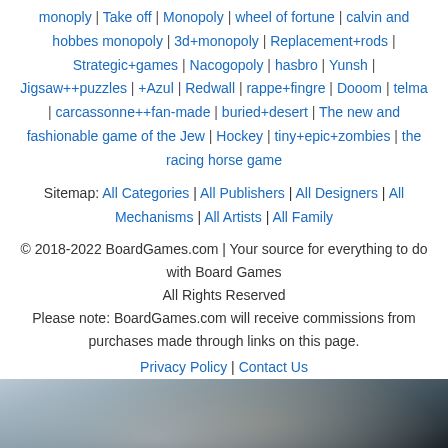monoply | Take off | Monopoly | wheel of fortune | calvin and hobbes monopoly | 3d+monopoly | Replacement+rods | Strategic+games | Nacogopoly | hasbro | Yunsh | Jigsaw++puzzles | +Azul | Redwall | rappe+fingre | Dooom | telma | carcassonne++fan-made | buried+desert | The new and fashionable game of the Jew | Hockey | tiny+epic+zombies | the racing horse game
Sitemap: All Categories | All Publishers | All Designers | All Mechanisms | All Artists | All Family
© 2018-2022 BoardGames.com | Your source for everything to do with Board Games
All Rights Reserved
Please note: BoardGames.com will receive commissions from purchases made through links on this page.
Privacy Policy | Contact Us
[Figure (photo): A dark, blurred close-up photograph, predominantly showing a dark background with a lighter area in the upper portion suggesting a surface or object partially lit.]